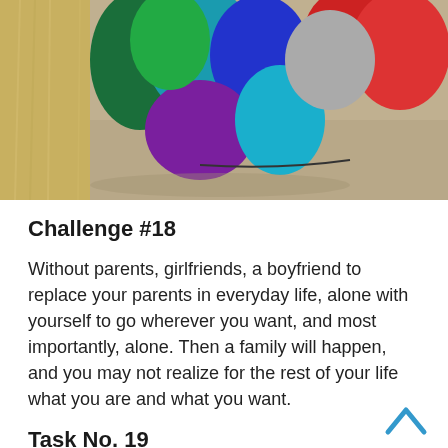[Figure (photo): Colorful fur or feather costume piece and straw/raffia costume, placed on concrete ground outdoors.]
Challenge #18
Without parents, girlfriends, a boyfriend to replace your parents in everyday life, alone with yourself to go wherever you want, and most importantly, alone. Then a family will happen, and you may not realize for the rest of your life what you are and what you want.
Task No. 19